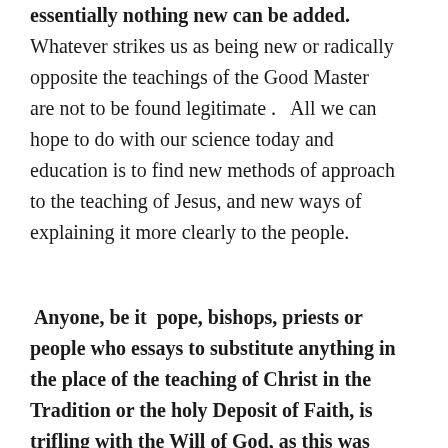essentially nothing new can be added. Whatever strikes us as being new or radically opposite the teachings of the Good Master are not to be found legitimate .   All we can hope to do with our science today and education is to find new methods of approach to the teaching of Jesus, and new ways of explaining it more clearly to the people.
Anyone, be it  pope, bishops, priests or people who essays to substitute anything in the place of the teaching of Christ in the Tradition or the holy Deposit of Faith, is trifling with the Will of God, as this was made known to us authentically in the perennial magisterium of the ages.   It is